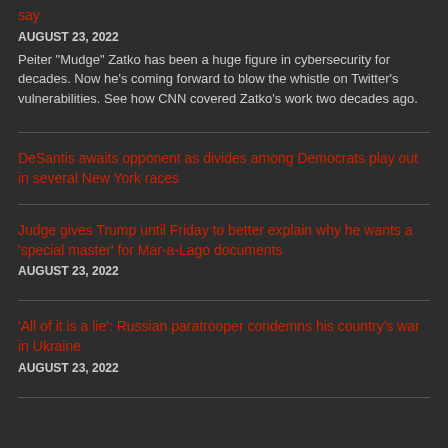say
AUGUST 23, 2022
Peiter "Mudge" Zatko has been a huge figure in cybersecurity for decades. Now he's coming forward to blow the whistle on Twitter's vulnerabilities. See how CNN covered Zatko's work two decades ago.
DeSantis awaits opponent as divides among Democrats play out in several New York races
Judge gives Trump until Friday to better explain why he wants a 'special master' for Mar-a-Lago documents
AUGUST 23, 2022
'All of it is a lie': Russian paratrooper condemns his country's war in Ukraine
AUGUST 23, 2022